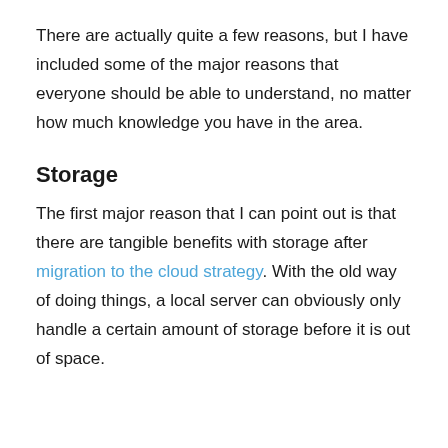There are actually quite a few reasons, but I have included some of the major reasons that everyone should be able to understand, no matter how much knowledge you have in the area.
Storage
The first major reason that I can point out is that there are tangible benefits with storage after migration to the cloud strategy. With the old way of doing things, a local server can obviously only handle a certain amount of storage before it is out of space.